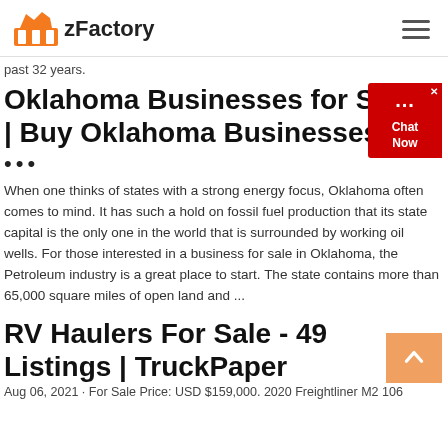zFactory
past 32 years.
Oklahoma Businesses for Sale | Buy Oklahoma Businesses a…
...
When one thinks of states with a strong energy focus, Oklahoma often comes to mind. It has such a hold on fossil fuel production that its state capital is the only one in the world that is surrounded by working oil wells. For those interested in a business for sale in Oklahoma, the Petroleum industry is a great place to start. The state contains more than 65,000 square miles of open land and ...
RV Haulers For Sale - 49 Listings | TruckPaper
Aug 06, 2021 · For Sale Price: USD $159,000. 2020 Freightliner M2 106